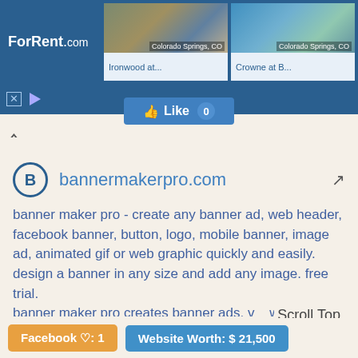[Figure (screenshot): ForRent.com advertisement banner with two property photos for Colorado Springs, CO: Ironwood at... and Crowne at B...]
bannermakerpro.com
banner maker pro - create any banner ad, web header, facebook banner, button, logo, mobile banner, image ad, animated gif or web graphic quickly and easily. design a banner in any size and add any image. free trial. banner maker pro creates banner ads, v web graphics, web headers, logos, image ads, mobile banner ads, and animated gifs quickly and easily. free trial.
Scroll Top
Facebook ♡: 1
Website Worth: $ 21,500